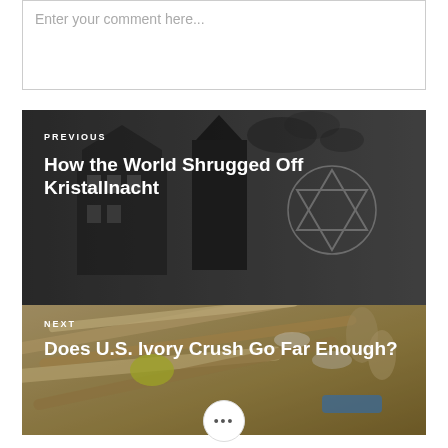Enter your comment here...
[Figure (photo): Black and white illustration/photo of a building with a Star of David, used as background for previous post navigation]
PREVIOUS
How the World Shrugged Off Kristallnacht
[Figure (photo): Color photo of paint brushes and art tools in a box, used as background for next post navigation]
NEXT
Does U.S. Ivory Crush Go Far Enough?
•••